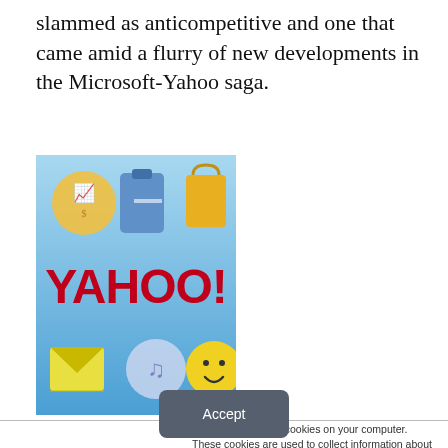slammed as anticompetitive and one that came amid a flurry of new developments in the Microsoft-Yahoo saga.
[Figure (illustration): Yahoo! logo image with colorful app icons (stocks, briefcase, shopping bag, email, music, smiley face) on a blue gradient background]
This website stores cookies on your computer. These cookies are used to collect information about how you interact with our website and allow us to remember you. We use this information in order to improve and customize your browsing experience and for analytics and metrics about our visitors both on this website and other media. To find out more about the cookies we use, see our Privacy Policy. California residents have the right to direct us not to sell their personal information to third parties by filing an Opt-Out Request: Do Not Sell My Personal Info.
Accept